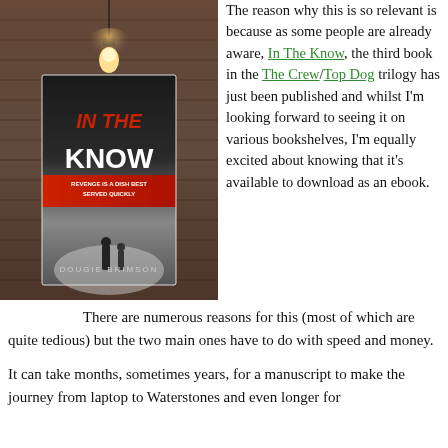[Figure (photo): Book cover of 'In The Know' by Dougie Brimson, shown against a brick wall with a hanging light bulb. The cover features two silhouetted figures in a misty scene with red title text.]
The reason why this is so relevant is because as some people are already aware, In The Know, the third book in the The Crew/Top Dog trilogy has just been published and whilst I'm looking forward to seeing it on various bookshelves, I'm equally excited about knowing that it's available to download as an ebook.
There are numerous reasons for this (most of which are quite tedious) but the two main ones have to do with speed and money.
It can take months, sometimes years, for a manuscript to make the journey from laptop to Waterstones and even longer for